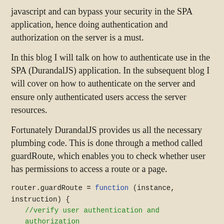javascript and can bypass your security in the SPA application, hence doing authentication and authorization on the server is a must.
In this blog I will talk on how to authenticate use in the SPA (DurandalJS) application. In the subsequent blog I will cover on how to authenticate on the server and ensure only authenticated users access the server resources.
Fortunately DurandalJS provides us all the necessary plumbing code. This is done through a method called guardRoute, which enables you to check whether user has permissions to access a route or a page.
router.guardRoute = function (instance, instruction) {
    //verify user authentication and authorization
    }
From this guardRoute you can return a Boolean whether user is allowed or not, or a view that needs to be called if user is not allowed. You can even return a promise. Checkout the DurandalJS site for more information.